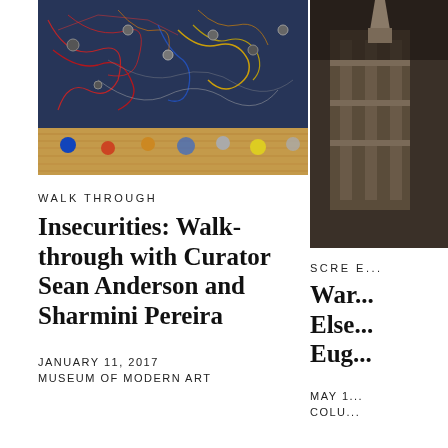[Figure (photo): Installation art of a colorful world map made with strings and threads on a dark blue wall, with colored balls on a wooden floor in front. Museum gallery setting.]
WALK THROUGH
Insecurities: Walk-through with Curator Sean Anderson and Sharmini Pereira
JANUARY 11, 2017
MUSEUM OF MODERN ART
[Figure (photo): Partial view of a museum interior with architectural elements, partially cropped on the right side of the page.]
SCRE E...
War... Else... Eug...
MAY 1...
COLU...